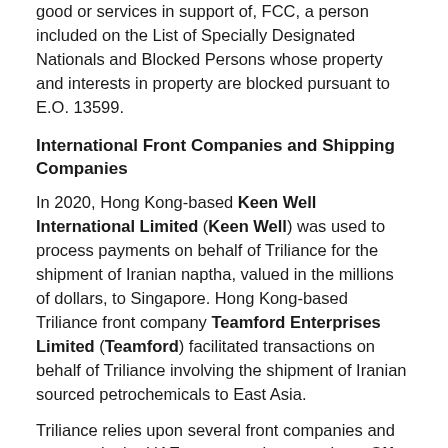good or services in support of, FCC, a person included on the List of Specially Designated Nationals and Blocked Persons whose property and interests in property are blocked pursuant to E.O. 13599.
International Front Companies and Shipping Companies
In 2020, Hong Kong-based Keen Well International Limited (Keen Well) was used to process payments on behalf of Triliance for the shipment of Iranian naptha, valued in the millions of dollars, to Singapore. Hong Kong-based Triliance front company Teamford Enterprises Limited (Teamford) facilitated transactions on behalf of Triliance involving the shipment of Iranian sourced petrochemicals to East Asia.
Triliance relies upon several front companies and partners in the UAE to support its operations. GX Shipping FZE (GX Shipping) has concealed the source of Iranian petrochemicals in order to further Triliance’s business and evade sanctions. Triliance has also used front